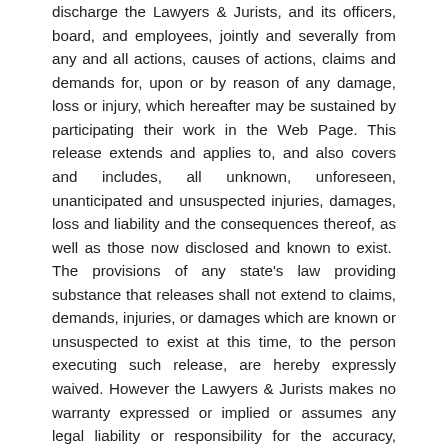discharge the Lawyers & Jurists, and its officers, board, and employees, jointly and severally from any and all actions, causes of actions, claims and demands for, upon or by reason of any damage, loss or injury, which hereafter may be sustained by participating their work in the Web Page. This release extends and applies to, and also covers and includes, all unknown, unforeseen, unanticipated and unsuspected injuries, damages, loss and liability and the consequences thereof, as well as those now disclosed and known to exist.  The provisions of any state's law providing substance that releases shall not extend to claims, demands, injuries, or damages which are known or unsuspected to exist at this time, to the person executing such release, are hereby expressly waived. However the Lawyers & Jurists makes no warranty expressed or implied or assumes any legal liability or responsibility for the accuracy, completeness or usefulness of any information, apparatus, product or process disclosed or represents that its use would not infringe privately owned rights. Reference herein to any specific commercial product process or service by trade name, trade mark, manufacturer or otherwise, does not necessarily constitute or imply its endorsement,